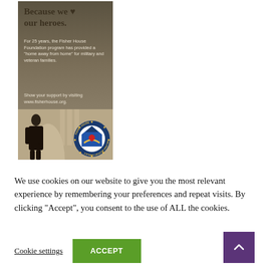[Figure (illustration): Fisher House Foundation advertisement. Dark olive/brown background with bold text 'Because we ♥ our heroes.' followed by body text about Fisher House Foundation program providing home away from home for military and veteran families for 25 years. Shows circular Fisher House seal logo with house, hands, and heart imagery. Text says 'Show your support by visiting www.fisherhouse.org.']
We use cookies on our website to give you the most relevant experience by remembering your preferences and repeat visits. By clicking "Accept", you consent to the use of ALL the cookies.
Cookie settings
ACCEPT